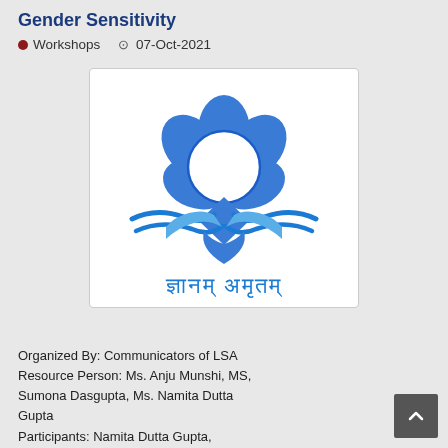Gender Sensitivity
Workshops   07-Oct-2021
[Figure (logo): A blue lotus/flower logo with an open book beneath it, with Hindi text 'ज्ञानम् अमृतम्' below, which is the emblem for an educational institution (LSA).]
Organized By: Communicators of LSA Resource Person: Ms. Anju Munshi, MS, Sumona Dasgupta, Ms. Namita Dutta Gupta Participants: Namita Dutta Gupta,